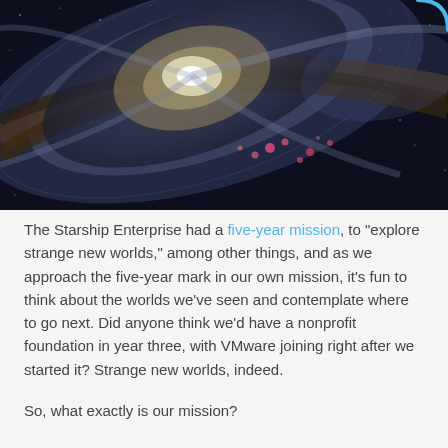[Figure (photo): Close-up Hubble Space Telescope image of a spiral galaxy showing bright central core, swirling dust lanes, and pink star-forming regions against a dark background of stars.]
The Starship Enterprise had a five-year mission, to "explore strange new worlds," among other things, and as we approach the five-year mark in our own mission, it's fun to think about the worlds we've seen and contemplate where to go next. Did anyone think we'd have a nonprofit foundation in year three, with VMware joining right after we started it? Strange new worlds, indeed.
So, what exactly is our mission?